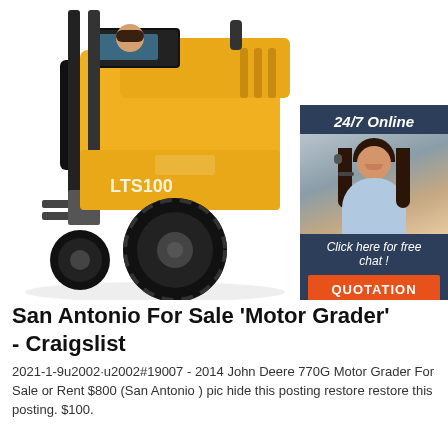[Figure (photo): Yellow forklift (LTS100 model) on white background, with an overlaid advertisement banner on the right showing '24/7 Online', a customer service representative with headset, 'Click here for free chat!' text, and an orange QUOTATION button]
San Antonio For Sale 'Motor Grader' - Craigslist
2021-1-9u2002·u2002#19007 - 2014 John Deere 770G Motor Grader For Sale or Rent $800 (San Antonio ) pic hide this posting restore restore this posting. $100.